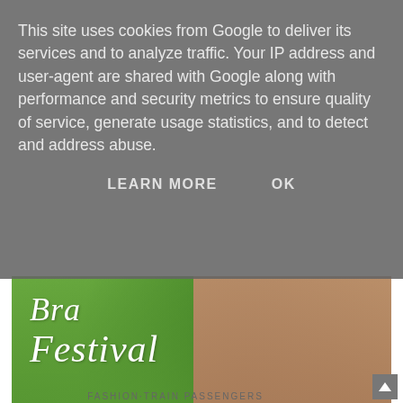This site uses cookies from Google to deliver its services and to analyze traffic. Your IP address and user-agent are shared with Google along with performance and security metrics to ensure quality of service, generate usage statistics, and to detect and address abuse.
LEARN MORE   OK
[Figure (photo): Bra Festival promotional banner showing a woman in a pink bikini set against tropical foliage background. Text overlay reads 'Bra Festival ALL BRAS 3 FOR 2 SHOP NOW *T&Cs apply']
Search
FASHION·TRAIN PASSENGERS